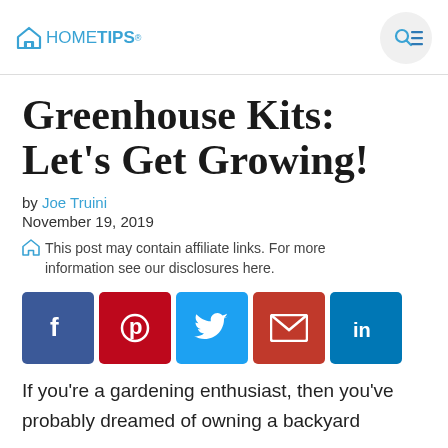HOMETIPS
Greenhouse Kits: Let's Get Growing!
by Joe Truini
November 19, 2019
This post may contain affiliate links. For more information see our disclosures here.
[Figure (other): Social sharing buttons: Facebook, Pinterest, Twitter, Email, LinkedIn]
If you're a gardening enthusiast, then you've probably dreamed of owning a backyard